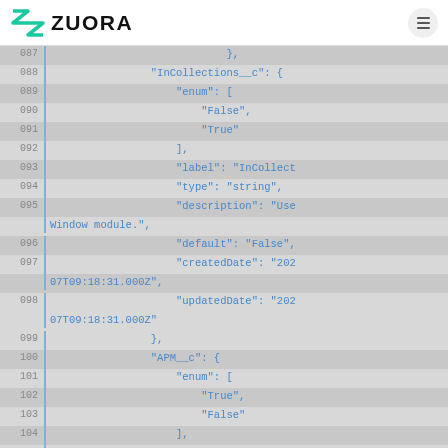ZUORA
[Figure (screenshot): Code viewer showing JSON lines 087-107 with line numbers, alternating gray rows, Zuora branding header. Blue monospace code on gray background.]